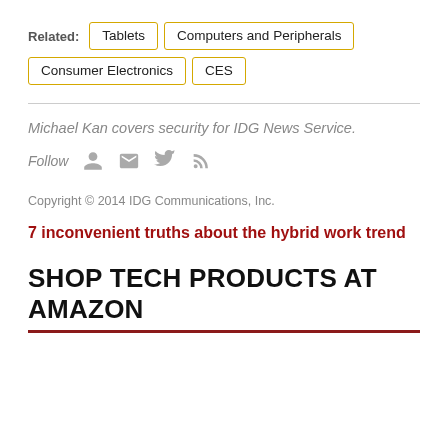Related: Tablets | Computers and Peripherals | Consumer Electronics | CES
Michael Kan covers security for IDG News Service.
Follow
Copyright © 2014 IDG Communications, Inc.
7 inconvenient truths about the hybrid work trend
SHOP TECH PRODUCTS AT AMAZON